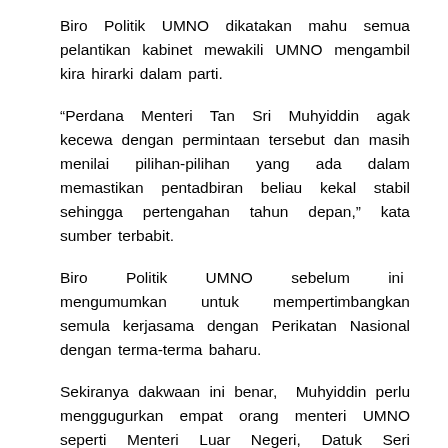Biro Politik UMNO dikatakan mahu semua pelantikan kabinet mewakili UMNO mengambil kira hirarki dalam parti.
“Perdana Menteri Tan Sri Muhyiddin agak kecewa dengan permintaan tersebut dan masih menilai pilihan-pilihan yang ada dalam memastikan pentadbiran beliau kekal stabil sehingga pertengahan tahun depan,” kata sumber terbabit.
Biro Politik UMNO sebelum ini mengumumkan untuk mempertimbangkan semula kerjasama dengan Perikatan Nasional dengan terma-terma baharu.
Sekiranya dakwaan ini benar, Muhyiddin perlu menggugurkan empat orang menteri UMNO seperti Menteri Luar Negeri, Datuk Seri Hishammuddin Tun Hussien, Menteri Sains, Teknologi Dan Inovasi, Khairy Jamaluddin, Menteri Perpaduan Negara Datuk Halimah